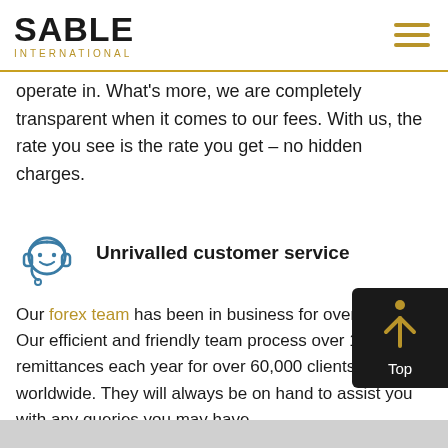SABLE INTERNATIONAL
operate in. What's more, we are completely transparent when it comes to our fees. With us, the rate you see is the rate you get – no hidden charges.
Unrivalled customer service
Our forex team has been in business for over 20 years. Our efficient and friendly team process over 140,000 remittances each year for over 60,000 clients worldwide. They will always be on hand to assist you with any queries you may have.